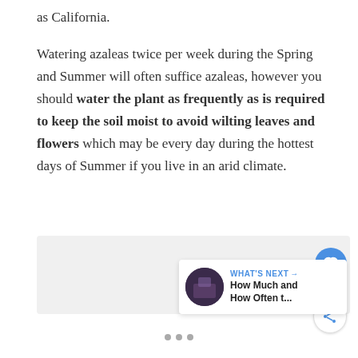as California.
Watering azaleas twice per week during the Spring and Summer will often suffice azaleas, however you should water the plant as frequently as is required to keep the soil moist to avoid wilting leaves and flowers which may be every day during the hottest days of Summer if you live in an arid climate.
[Figure (other): UI panel with like button (heart icon, count 8), share button, and a What's Next panel showing a thumbnail and text 'How Much and How Often t...']
pagination dots